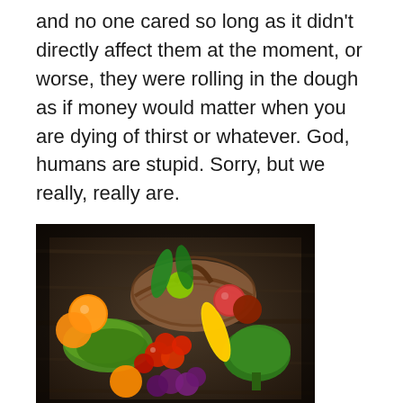and no one cared so long as it didn't directly affect them at the moment, or worse, they were rolling in the dough as if money would matter when you are dying of thirst or whatever. God, humans are stupid. Sorry, but we really, really are.
[Figure (photo): A colorful assortment of fresh fruits and vegetables including oranges, tomatoes, broccoli, corn, apples, leafy greens, and other produce arranged on a dark wooden surface, with a wicker basket in the background.]
Anyway, I seem to be on the med, most of my blood work came back good, except for the actual blood, which I am very, very anemic and am getting iron supplements today, and need to eat more meat and Iron-rich foods. Actually, there's a whole list of foods I should be eating for the